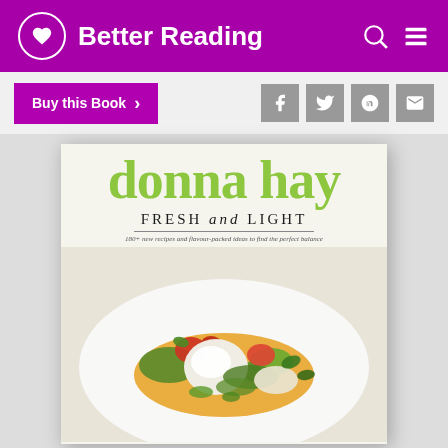Better Reading
[Figure (screenshot): Buy this Book button with purple background and right arrow, plus social sharing icons (Facebook, Twitter, Pinterest, Email) on grey background]
[Figure (photo): Book cover for 'donna hay FRESH and LIGHT' — large lime-green text 'donna hay' at top, subtitle 'FRESH and LIGHT', tagline '180+ new recipes and flavour-packed ideas to find the perfect balance', food photo showing a white plate with burrata/mozzarella, tomatoes, greens, herbs and squash/pumpkin puree]